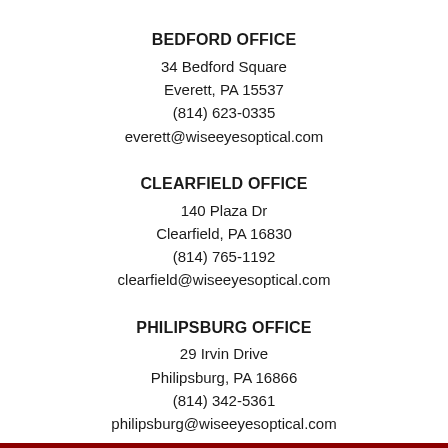BEDFORD OFFICE
34 Bedford Square
Everett, PA 15537
(814) 623-0335
everett@wiseeyesoptical.com
CLEARFIELD OFFICE
140 Plaza Dr
Clearfield, PA 16830
(814) 765-1192
clearfield@wiseeyesoptical.com
PHILIPSBURG OFFICE
29 Irvin Drive
Philipsburg, PA 16866
(814) 342-5361
philipsburg@wiseeyesoptical.com